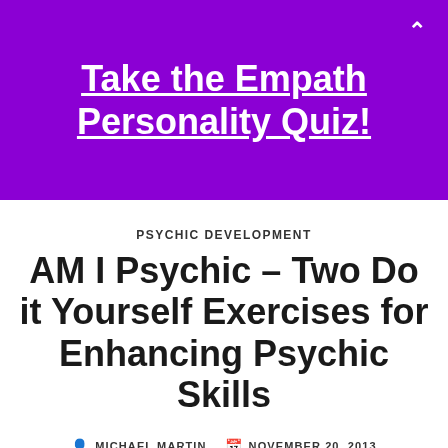Take the Empath Personality Quiz!
PSYCHIC DEVELOPMENT
AM I Psychic – Two Do it Yourself Exercises for Enhancing Psychic Skills
MICHAEL MARTIN  NOVEMBER 20, 2013
NO COMMENTS
[Figure (photo): Partial photo visible at bottom of page, showing red and dark clothing/background]